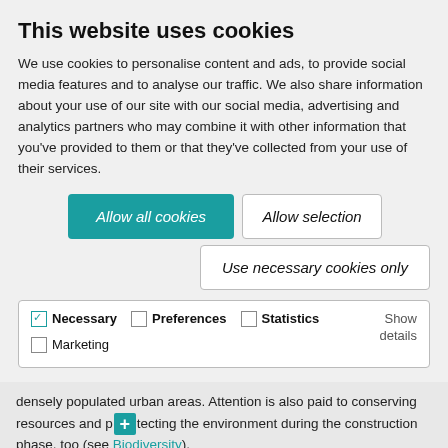This website uses cookies
We use cookies to personalise content and ads, to provide social media features and to analyse our traffic. We also share information about your use of our site with our social media, advertising and analytics partners who may combine it with other information that you've provided to them or that they've collected from your use of their services.
Allow all cookies | Allow selection | Use necessary cookies only
✓ Necessary  ☐ Preferences  ☐ Statistics  ☐ Marketing  Show details
densely populated urban areas. Attention is also paid to conserving resources and protecting the environment during the construction phase, too (see Biodiversity).
We also implement a number of measures to protect